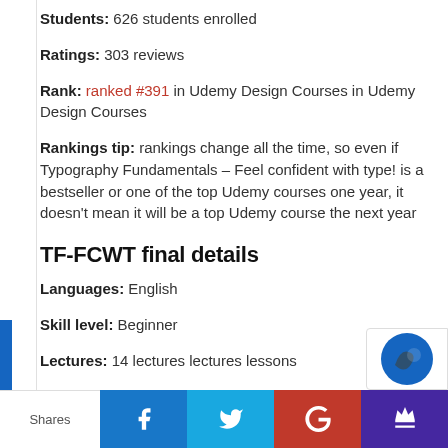Students: 626 students enrolled
Ratings: 303 reviews
Rank: ranked #391 in Udemy Design Courses in Udemy Design Courses
Rankings tip: rankings change all the time, so even if Typography Fundamentals – Feel confident with type! is a bestseller or one of the top Udemy courses one year, it doesn't mean it will be a top Udemy course the next year
TF-FCWT final details
Languages: English
Skill level: Beginner
Lectures: 14 lectures lectures lessons
Shares | Facebook | Twitter | Google+ | Crown